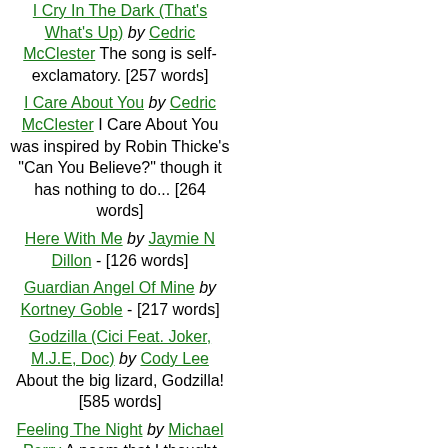I Cry In The Dark (That's What's Up) by Cedric McClester The song is self-exclamatory. [257 words]
I Care About You by Cedric McClester I Care About You was inspired by Robin Thicke's "Can You Believe?" though it has nothing to do... [264 words]
Here With Me by Jaymie N Dillon - [126 words]
Guardian Angel Of Mine by Kortney Goble - [217 words]
Godzilla (Cici Feat. Joker, M.J.E, Doc) by Cody Lee About the big lizard, Godzilla! [585 words]
Feeling The Night by Michael Perry A poem that I thought would work as a song [256 words]
End by Cody Ricker A song I wrote about the wars going on and some